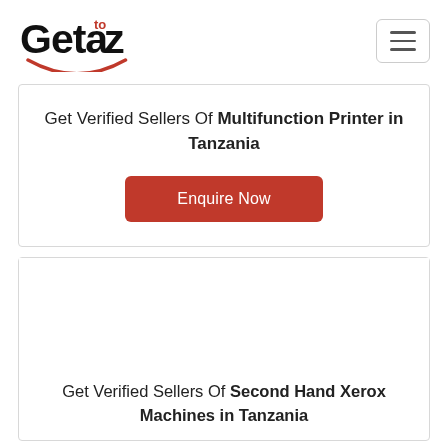Geta to z — navigation logo and hamburger menu
Get Verified Sellers Of Multifunction Printer in Tanzania
Enquire Now
Get Verified Sellers Of Second Hand Xerox Machines in Tanzania